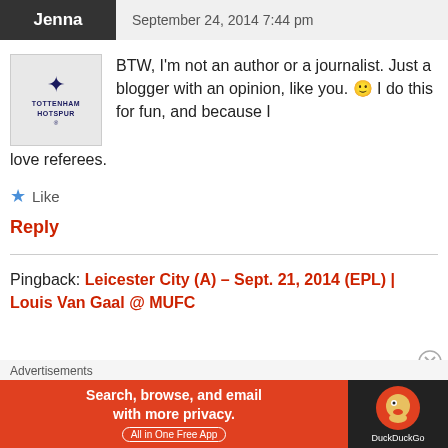Jenna   September 24, 2014 7:44 pm
[Figure (logo): Tottenham Hotspur logo avatar]
BTW, I'm not an author or a journalist. Just a blogger with an opinion, like you. 🙂 I do this for fun, and because I love referees.
Like
Reply
Pingback: Leicester City (A) – Sept. 21, 2014 (EPL) | Louis Van Gaal @ MUFC
Advertisements
[Figure (infographic): DuckDuckGo advertisement banner: Search, browse, and email with more privacy. All in One Free App]